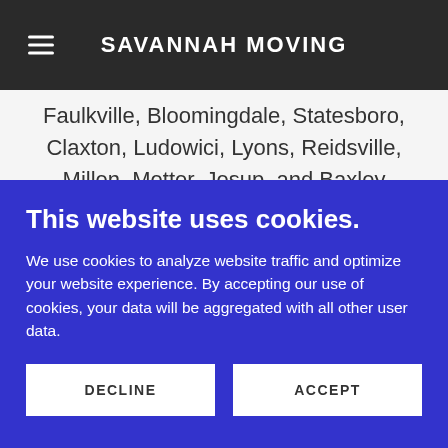SAVANNAH MOVING
White Marsh Island, South Bridge, Dutch Island, Skidaway Island, The Landings, Isle of Hope, Georgetown, Savannah, GA, Garden City, Port Wentworth, Pooler, Guyton, Springfield, Hinesville, Faulkville, Bloomingdale, Statesboro, Claxton, Ludowici, Lyons, Reidsville, Millen, Metter, Jesup, and Baxley
County Serves Areas: Chatham County, Bryan County, Effingham County, Bullock County, and All
This website uses cookies.
We use cookies to analyze website traffic and optimize your website experience. By accepting our use of cookies, your data will be aggregated with all other user data.
DECLINE
ACCEPT